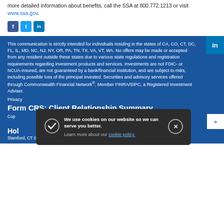more detailed information about benefits, call the SSA at 800.772.1213 or visit www.ssa.gov.
[Figure (illustration): Social media icons: Facebook, Twitter, LinkedIn]
This communication is strictly intended for individuals residing in the states of CA, CO, CT, DC, FL, IL, MD, NC, NJ, NY, OR, PA, TN, TX, VA, VT, WA. No offers may be made or accepted from any resident outside these states due to various state regulations and registration requirements regarding investment products and services. Investments are not FDIC- or NCUA-insured, are not guaranteed by a bank/financial institution, and are subject to risks, including possible loss of the principal invested. Securities and advisory services offered through Commonwealth Financial Network®, Member FINRA/SIPC, a Registered Investment Adviser.
Privacy
Form CRS: Client Relationship Summary
Copyright
Hol
Stamford, CT 06905 | F 203.656.6556 | F 203.561.5549
We use cookies on our website so we can serve you better. Learn more about our cookie policy.